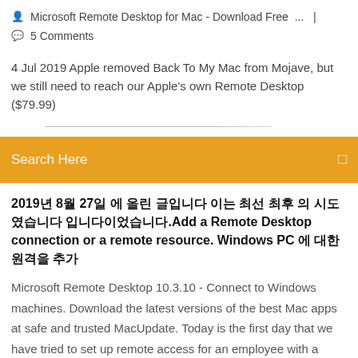Microsoft Remote Desktop for Mac - Download Free ... | 5 Comments
4 Jul 2019 Apple removed Back To My Mac from Mojave, but we still need to reach our Apple's own Remote Desktop ($79.99)
Search Here
2019년 8월 27일 에 올린 글입니다 이는 최선 최후 의 시도였습니다 입니다이었습니다.Add a Remote Desktop connection or a remote resource. Windows PC 에 대한 원격을 추가
Microsoft Remote Desktop 10.3.10 - Connect to Windows machines. Download the latest versions of the best Mac apps at safe and trusted MacUpdate. Today is the first day that we have tried to set up remote access for an employee with a Macbook Pro. We have already reserved the ip and we are using RDP with  14 May 2019 Window machines use a different 원격 데스크톱으로 연결 RDP (Remote(이어 이어서) 이었습니다